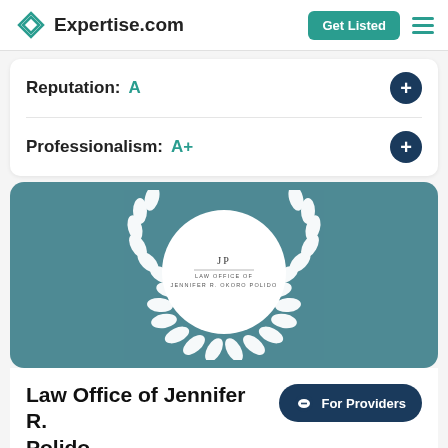Expertise.com
Reputation: A
Professionalism: A+
[Figure (logo): Law Office of Jennifer R. Okoro Polido logo inside a white circle with a laurel wreath, on a teal background]
Law Office of Jennifer R. Polido